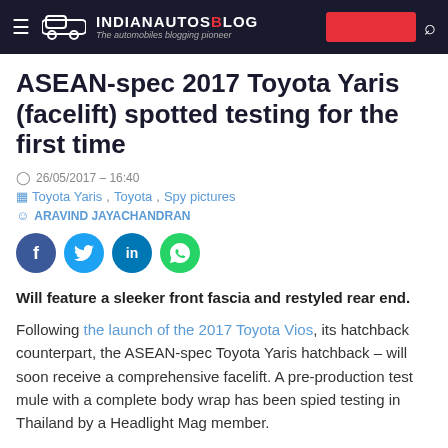IndianAutosBlog — The automobiles blogging pioneer
ASEAN-spec 2017 Toyota Yaris (facelift) spotted testing for the first time
26/05/2017 - 16:40
Toyota Yaris, Toyota, Spy pictures
ARAVIND JAYACHANDRAN
[Figure (infographic): Social share buttons: Facebook (blue circle), Twitter (cyan circle), LinkedIn (blue circle), WhatsApp (green circle)]
Will feature a sleeker front fascia and restyled rear end.
Following the launch of the 2017 Toyota Vios, its hatchback counterpart, the ASEAN-spec Toyota Yaris hatchback - will soon receive a comprehensive facelift. A pre-production test mule with a complete body wrap has been spied testing in Thailand by a Headlight Mag member.